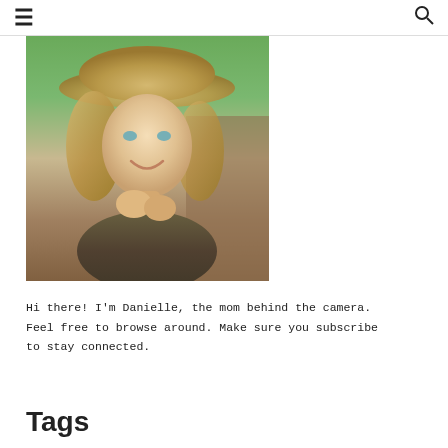☰  🔍
[Figure (photo): Portrait photo of a smiling blonde woman wearing a wide-brimmed straw hat, resting her chin on her hands, outdoors with green background]
Hi there! I'm Danielle, the mom behind the camera. Feel free to browse around. Make sure you subscribe to stay connected.
Tags